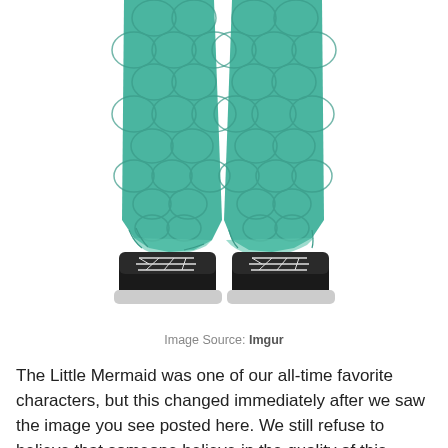[Figure (photo): Lower half of a person wearing teal/green mermaid-scale patterned pants and black sneakers with white laces, photographed against a white background.]
Image Source: Imgur
The Little Mermaid was one of our all-time favorite characters, but this changed immediately after we saw the image you see posted here. We still refuse to believe that someone believe in the quality of this product and approved